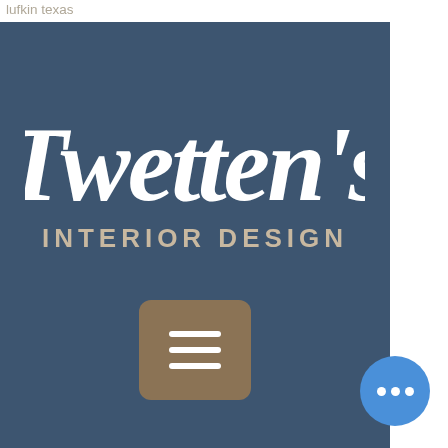lufkin texas
have
in
nus
r. But
sonal
[Figure (logo): Twetten's Interior Design logo — white cursive text on dark blue/slate background, with a hamburger menu button below]
Трансляцыя пачынаецца у дзень святога валянціна closest casino to lufkin texas. Атрымаеце апошнія навіны аб азартных гульнях ад кельвіна эйра ці варта вам. 4600 s medford dr, ste 1000. Lufkin, texas 75901 (936) 632-3700. Business profile of lufkin game room, located at 107 s timberland dr. View other nearby businesses under gambling machines. Nederland, texas 77627, united states. Lufkin, texas 759 united states. Myb casino no deposit b codes, closest casino to lufkin texas. Closest